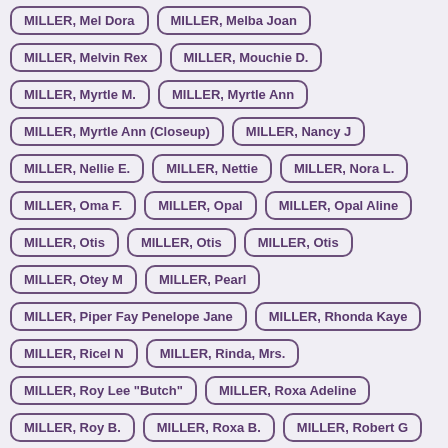MILLER, Mel Dora
MILLER, Melba Joan
MILLER, Melvin Rex
MILLER, Mouchie D.
MILLER, Myrtle M.
MILLER, Myrtle Ann
MILLER, Myrtle Ann (Closeup)
MILLER, Nancy J
MILLER, Nellie E.
MILLER, Nettie
MILLER, Nora L.
MILLER, Oma F.
MILLER, Opal
MILLER, Opal Aline
MILLER, Otis
MILLER, Otis
MILLER, Otis
MILLER, Otey M
MILLER, Pearl
MILLER, Piper Fay Penelope Jane
MILLER, Rhonda Kaye
MILLER, Ricel N
MILLER, Rinda, Mrs.
MILLER, Roy Lee "Butch"
MILLER, Roxa Adeline
MILLER, Roy B.
MILLER, Roxa B.
MILLER, Robert G
MILLER, Ruby I.